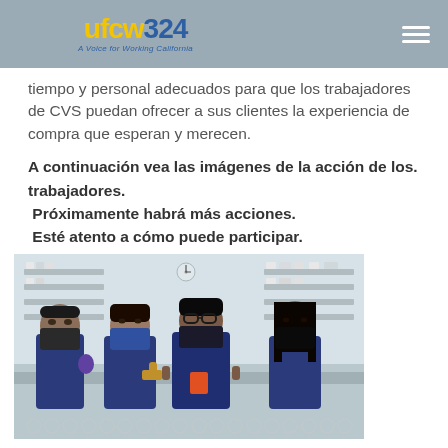UFCW324 - A Voice for Working California
tiempo y personal adecuados para que los trabajadores de CVS puedan ofrecer a sus clientes la experiencia de compra que esperan y merecen.
A continuación vea las imágenes de la acción de los. trabajadores. Próximamente habrá más acciones. Esté atento a cómo puede participar.
[Figure (photo): Four CVS pharmacy workers wearing blue uniforms and face masks standing together in a pharmacy store, giving thumbs up.]